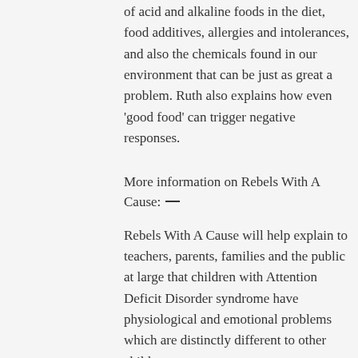of acid and alkaline foods in the diet, food additives, allergies and intolerances, and also the chemicals found in our environment that can be just as great a problem. Ruth also explains how even 'good food' can trigger negative responses.
More information on Rebels With A Cause:
Rebels With A Cause will help explain to teachers, parents, families and the public at large that children with Attention Deficit Disorder syndrome have physiological and emotional problems which are distinctly different to other children